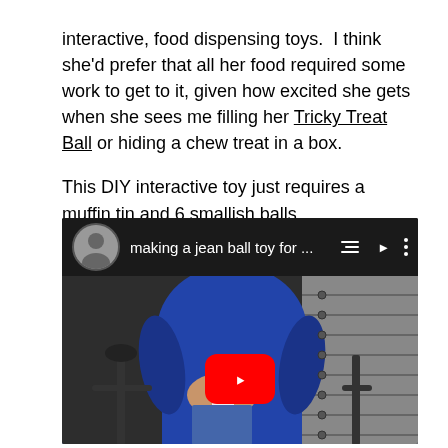interactive, food dispensing toys.  I think she'd prefer that all her food required some work to get to it, given how excited she gets when she sees me filling her Tricky Treat Ball or hiding a chew treat in a box.

This DIY interactive toy just requires a muffin tin and 6 smallish balls.
[Figure (screenshot): YouTube video embed showing a person in a blue long-sleeve shirt holding items, working with what appears to be denim material. The video is titled 'making a jean ball toy for ...' with a YouTube play button overlay.]